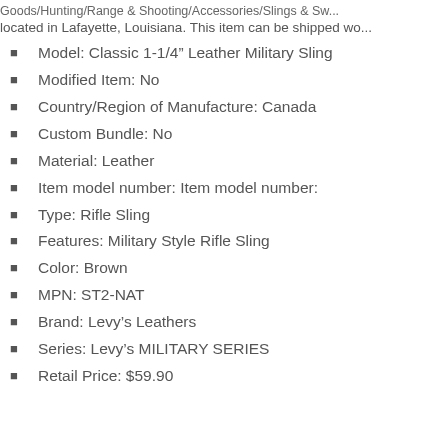Goods/Hunting/Range & Shooting/Accessories/Slings & Sw...
located in Lafayette, Louisiana. This item can be shipped wo...
Model: Classic 1-1/4" Leather Military Sling
Modified Item: No
Country/Region of Manufacture: Canada
Custom Bundle: No
Material: Leather
Item model number: Item model number:
Type: Rifle Sling
Features: Military Style Rifle Sling
Color: Brown
MPN: ST2-NAT
Brand: Levy’s Leathers
Series: Levy’s MILITARY SERIES
Retail Price: $59.90